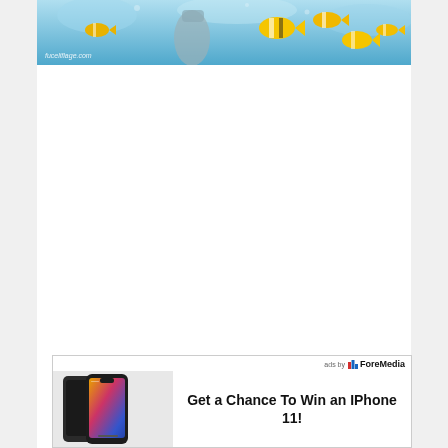[Figure (photo): Underwater photo showing fish and snorkeler/diver with tropical fish including yellow and white striped fish, with website watermark text at bottom left]
[Figure (advertisement): ForeMedia ad banner showing iPhone 11 smartphones with text Get a Chance To Win an IPhone 11!]